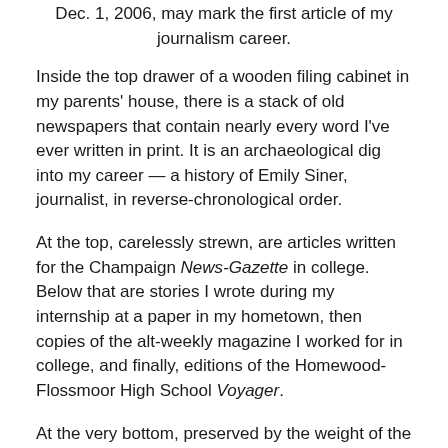Dec. 1, 2006, may mark the first article of my journalism career.
Inside the top drawer of a wooden filing cabinet in my parents' house, there is a stack of old newspapers that contain nearly every word I've ever written in print. It is an archaeological dig into my career — a history of Emily Siner, journalist, in reverse-chronological order.
At the top, carelessly strewn, are articles written for the Champaign News-Gazette in college. Below that are stories I wrote during my internship at a paper in my hometown, then copies of the alt-weekly magazine I worked for in college, and finally, editions of the Homewood-Flossmoor High School Voyager.
At the very bottom, preserved by the weight of the papers above it, is the oldest surviving evidence of my writing in print: an issue of The Voyager from Dec. 1, 2006. I was a new features writer, and I wrote about how Smart cars were being produced in America for the first time. Why this story was feature-worthy for the student body of H-F High School was